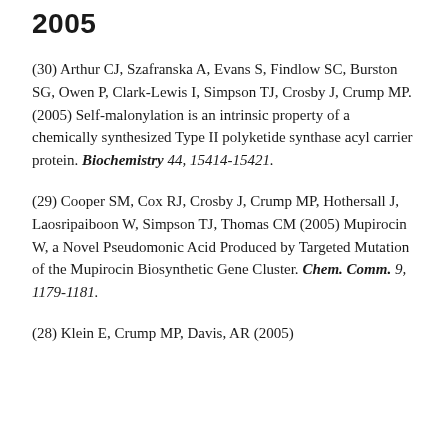2005
(30) Arthur CJ, Szafranska A, Evans S, Findlow SC, Burston SG, Owen P, Clark-Lewis I, Simpson TJ, Crosby J, Crump MP. (2005) Self-malonylation is an intrinsic property of a chemically synthesized Type II polyketide synthase acyl carrier protein. Biochemistry 44, 15414-15421.
(29) Cooper SM, Cox RJ, Crosby J, Crump MP, Hothersall J, Laosripaiboon W, Simpson TJ, Thomas CM (2005) Mupirocin W, a Novel Pseudomonic Acid Produced by Targeted Mutation of the Mupirocin Biosynthetic Gene Cluster. Chem. Comm. 9, 1179-1181.
(28) Klein E, Crump MP, Davis, AR (2005)